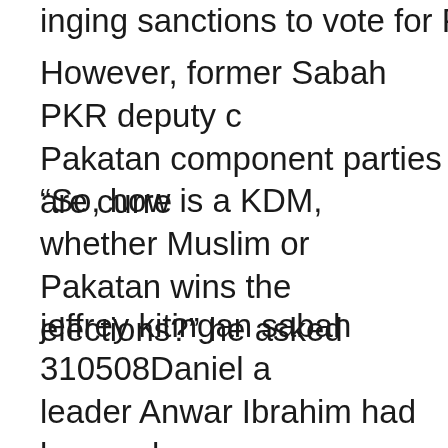inging sanctions to vote for Pakatan
However, former Sabah PKR deputy c Pakatan component parties are curre
“So, how is a KDM, whether Muslim or Pakatan wins the elections?” he asked
jeffrey kitingan sabah 310508Daniel a leader Anwar Ibrahim had been adam becoming the Sabah PKR chief. Read the rest of this entry »